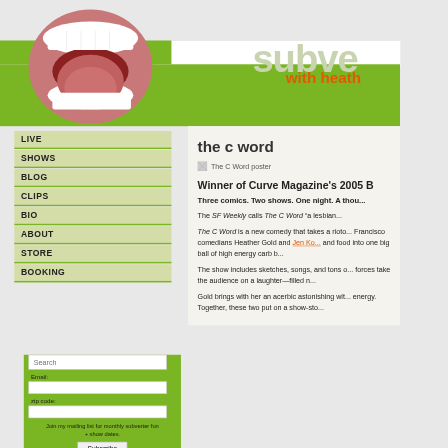subve... with heath...
[Figure (photo): Photo of an open mouth with tongue, used as website logo/mascot]
LIVE
SHOWS
BLOG
CLIPS
BIO
ABOUT
STORE
BOOKING
Search
Email:
zip code:
Join my mailing list for monthly subverter fun + show dates.
Subscribe
the c word
[Figure (photo): The C Word poster image]
Winner of Curve Magazine's 2005 B...
Three comics. Two shows. One night. A thou...
The SF Weekly calls The C Word “a lesbian...
The C Word is a new comedy that takes a rioto... Francisco comedians Heather Gold and Jen Ko... and food into one big ball of high energy carb b...
The show includes sketches, songs, and tons o... forces take the audience on a laughter—filled n...
Gold brings with her an acerbic astonishing wit... energy. Together, these two put on a show-sto...